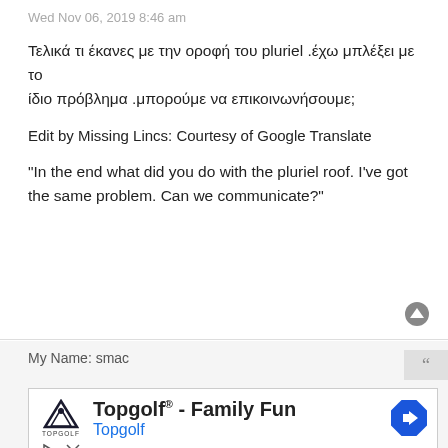Wed Nov 06, 2019 8:46 am
Τελικά τι έκανες με την οροφή του pluriel .έχω μπλέξει με το ίδιο πρόβλημα .μπορούμε να επικοινωνήσουμε;
Edit by Missing Lincs: Courtesy of Google Translate
"In the end what did you do with the pluriel roof. I've got the same problem. Can we communicate?"
My Name: smac
[Figure (infographic): Topgolf advertisement with logo, 'Topgolf® - Family Fun' headline, Topgolf subtitle in blue, navigation arrow icon, and ad controls (play/close icons)]